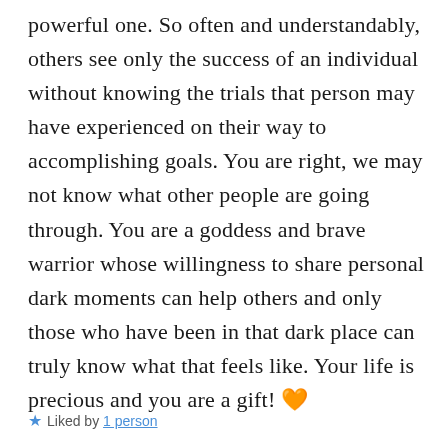powerful one. So often and understandably, others see only the success of an individual without knowing the trials that person may have experienced on their way to accomplishing goals. You are right, we may not know what other people are going through. You are a goddess and brave warrior whose willingness to share personal dark moments can help others and only those who have been in that dark place can truly know what that feels like. Your life is precious and you are a gift! 🧡
★ Liked by 1 person